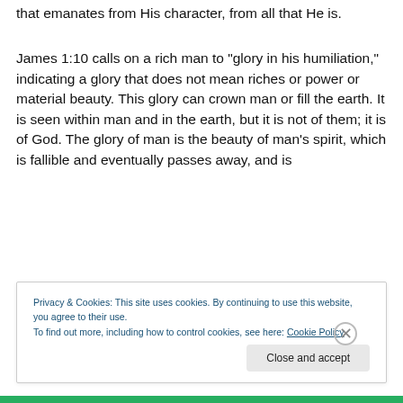that emanates from His character, from all that He is.
James 1:10 calls on a rich man to “glory in his humiliation,” indicating a glory that does not mean riches or power or material beauty. This glory can crown man or fill the earth. It is seen within man and in the earth, but it is not of them; it is of God. The glory of man is the beauty of man’s spirit, which is fallible and eventually passes away, and is
Privacy & Cookies: This site uses cookies. By continuing to use this website, you agree to their use.
To find out more, including how to control cookies, see here: Cookie Policy
Close and accept